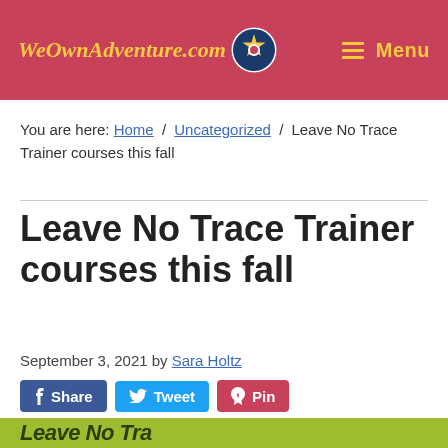WeOwnAdventure.com | Menu
You are here: Home / Uncategorized / Leave No Trace Trainer courses this fall
Leave No Trace Trainer courses this fall
September 3, 2021 by Sara Holtz
Share  Tweet  Pin
[Figure (infographic): Partial view of a Leave No Trace banner/graphic with yellow italic text on a yellow-green background]